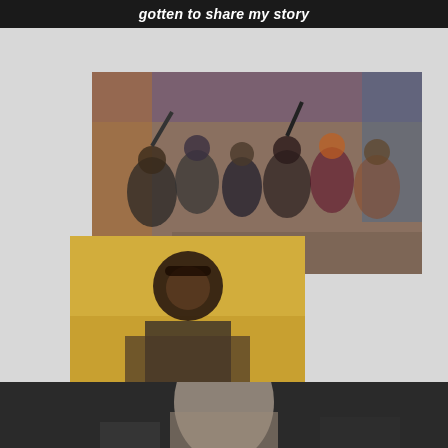gotten to share my story
[Figure (photo): Group photo of cast members celebrating, some with arms raised, at what appears to be a party or musical scene]
[Figure (photo): Young man wearing glasses and a plaid jacket with gold necklace, standing in front of yellow autumn leaves]
PopCityLife.com
Ramon Reed Previews '13: 'The Musical'
"Fans can expect to add an amazing soundtrack of songs to their everyday playlists."
[Figure (photo): Partial photo of a person at the bottom of the page, dark background]